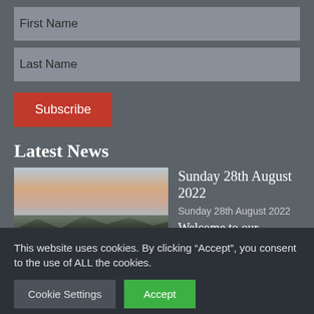First Name
Last Name
Subscribe
Latest News
[Figure (photo): Outdoor landscape with a river or lake, dark tree line silhouette, and a colorful sky with pink and blue clouds at dusk or dawn.]
Sunday 28th August 2022
Sunday 28th August 2022
Welcome to our livestream!
We're really glad you can
This website uses cookies. By clicking “Accept”, you consent to the use of ALL the cookies.
Cookie Settings
Accept